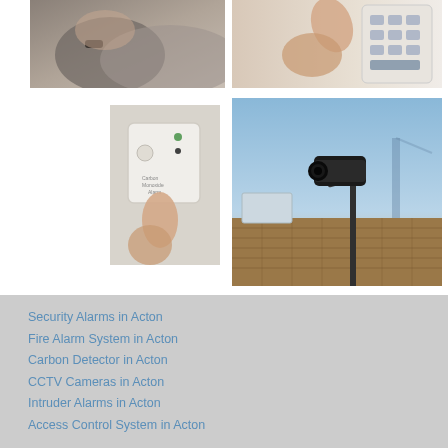[Figure (photo): Person's hand/wrist close-up, grey sleeve, appears to be touching or pressing something]
[Figure (photo): Hand pressing buttons on a security alarm keypad mounted on a wall]
[Figure (photo): Hand pressing a carbon monoxide detector/alarm device]
[Figure (photo): CCTV security camera mounted on a pole on a rooftop, sky background]
Security Alarms in Acton
Fire Alarm System in Acton
Carbon Detector in Acton
CCTV Cameras in Acton
Intruder Alarms in Acton
Access Control System in Acton